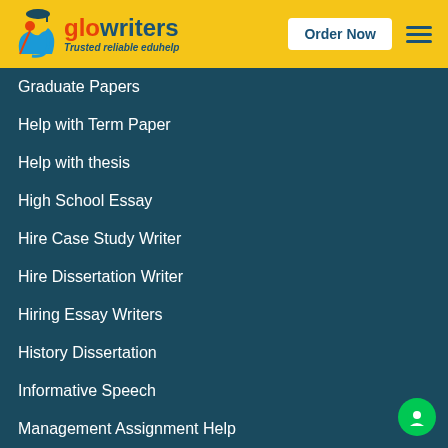[Figure (logo): GloWriters logo with graduation cap icon, orange/blue brand name, and tagline 'Trusted reliable eduhelp' on yellow header bar]
Order Now
Graduate Papers
Help with Term Paper
Help with thesis
High School Essay
Hire Case Study Writer
Hire Dissertation Writer
Hiring Essay Writers
History Dissertation
Informative Speech
Management Assignment Help
Marketing Assignment Help